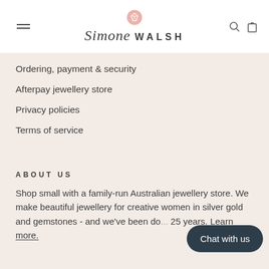[Figure (logo): Simone Walsh jewellery store logo with pink diamond icon, script and sans-serif wordmark, hamburger menu icon, search and cart icons]
Ordering, payment & security
Afterpay jewellery store
Privacy policies
Terms of service
ABOUT US
Shop small with a family-run Australian jewellery store. We make beautiful jewellery for creative women in silver gold and gemstones - and we've been do... 25 years. Learn more.
[Figure (other): Chat with us button (dark rounded pill shape)]